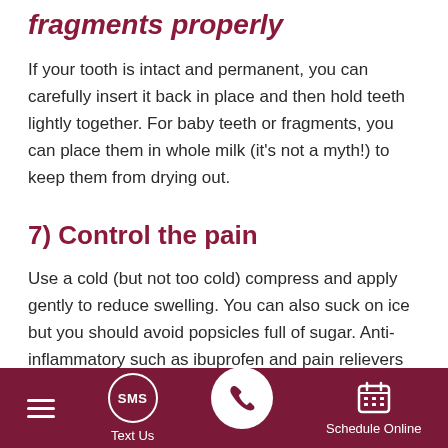fragments properly
If your tooth is intact and permanent, you can carefully insert it back in place and then hold teeth lightly together. For baby teeth or fragments, you can place them in whole milk (it’s not a myth!) to keep them from drying out.
7) Control the pain
Use a cold (but not too cold) compress and apply gently to reduce swelling. You can also suck on ice but you should avoid popsicles full of sugar. Anti-inflammatory such as ibuprofen and pain relievers such as acetaminophen can be taken according to their packaging.
Menu | Text Us | Phone | Schedule Online